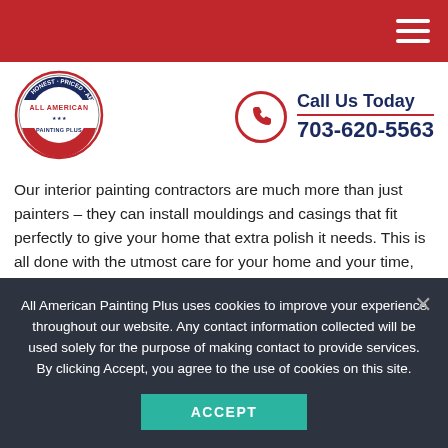All American Painting Plus navigation header with hamburger menu
[Figure (logo): All American Painting Plus circular logo with red, white, and blue design]
Call Us Today
703-620-5563
Our interior painting contractors are much more than just painters – they can install mouldings and casings that fit perfectly to give your home that extra polish it needs. This is all done with the utmost care for your home and your time, providing accurate estimates and quality work.
Complete Your Interior
All American Painting Plus uses cookies to improve your experience throughout our website. Any contact information collected will be used solely for the purpose of making contact to provide services. By clicking Accept, you agree to the use of cookies on this site.